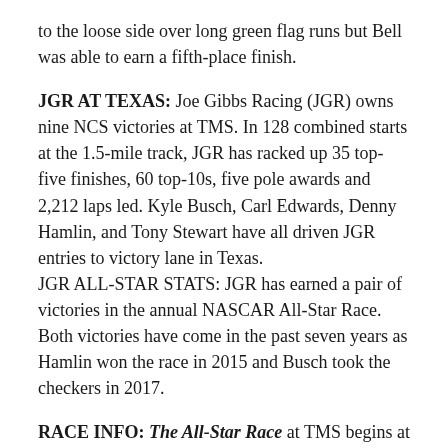to the loose side over long green flag runs but Bell was able to earn a fifth-place finish.
JGR AT TEXAS: Joe Gibbs Racing (JGR) owns nine NCS victories at TMS. In 128 combined starts at the 1.5-mile track, JGR has racked up 35 top-five finishes, 60 top-10s, five pole awards and 2,212 laps led. Kyle Busch, Carl Edwards, Denny Hamlin, and Tony Stewart have all driven JGR entries to victory lane in Texas.
JGR ALL-STAR STATS: JGR has earned a pair of victories in the annual NASCAR All-Star Race. Both victories have come in the past seven years as Hamlin won the race in 2015 and Busch took the checkers in 2017.
RACE INFO: The All-Star Race at TMS begins at 8:00 p.m. ET on Sunday, May 22, 2022. The race will be broadcast live on FS1, Sirius XM 90, and MRN Radio.